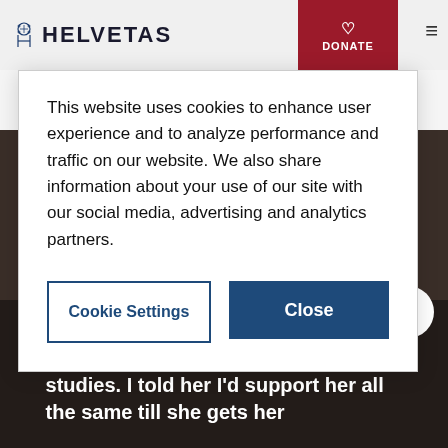HELVETAS
This website uses cookies to enhance user experience and to analyze performance and traffic on our website. We also share information about your use of our site with our social media, advertising and analytics partners.
Cookie Settings | Close
« I had to tell my daughter that it would be hard now to pay for her studies. I told her I'd support her all the same till she gets her